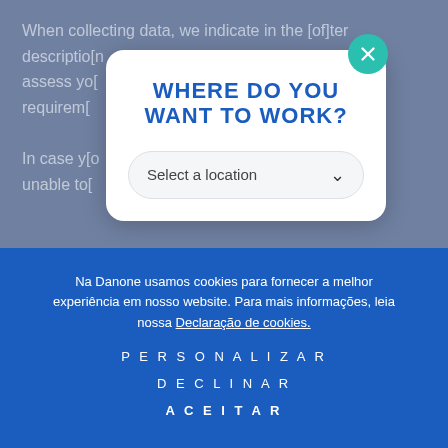When collecting data, we indicate in the [offer] description [or us to assess yo[ur] [al requirem[ents]... In case yo[u] [n]ight be unable to [... e job
[Figure (screenshot): Modal dialog titled WHERE DO YOU WANT TO WORK? with a Select a location dropdown and a teal close (X) button at top right.]
Na Danone usamos cookies para fornecer a melhor experiência em nosso website. Para mais informações, leia nossa Declaração de cookies.
PERSONALIZAR
DECLINAR
ACEITAR